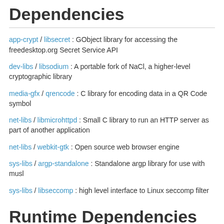Dependencies
app-crypt / libsecret : GObject library for accessing the freedesktop.org Secret Service API
dev-libs / libsodium : A portable fork of NaCl, a higher-level cryptographic library
media-gfx / qrencode : C library for encoding data in a QR Code symbol
net-libs / libmicrohttpd : Small C library to run an HTTP server as part of another application
net-libs / webkit-gtk : Open source web browser engine
sys-libs / argp-standalone : Standalone argp library for use with musl
sys-libs / libseccomp : high level interface to Linux seccomp filter
Runtime Dependencies